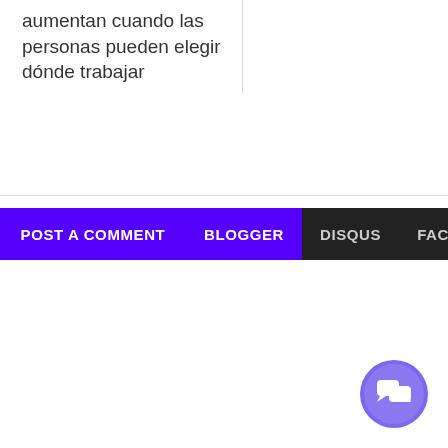aumentan cuando las personas pueden elegir dónde trabajar
[Figure (screenshot): Navigation bar with POST A COMMENT button (purple), dark middle section, BLOGGER (purple), DISQUS (dark), FACEBOOK (dark) tabs]
[Figure (other): Purple circular chat/messenger button in the bottom right corner]